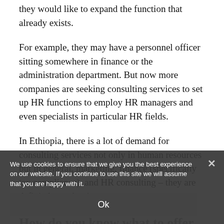they would like to expand the function that already exists.
For example, they may have a personnel officer sitting somewhere in finance or the administration department. But now more companies are seeking consulting services to set up HR functions to employ HR managers and even specialists in particular HR fields.
In Ethiopia, there is a lot of demand for consulting services not only in human resources but in general, marketing, finance (specifically tax compliance), and HR consulting – they are definitely on the rise.
How do you know what to offer to different prospective clients?
Usually, potential clients come to me because they have gone to the company’s website and have seen the
We use cookies to ensure that we give you the best experience on our website. If you continue to use this site we will assume that you are happy with it.